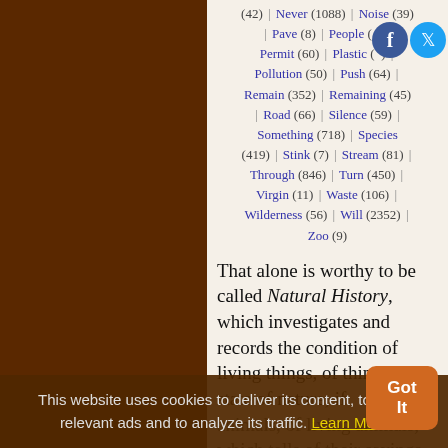(42) | Never (1088) | Noise (39) | Pave (8) | People (...) | Permit (60) | Plastic (...) | Pollution (50) | Push (64) | Remain (352) | Remaining (45) | Road (66) | Silence (59) | Something (718) | Species (419) | Stink (7) | Stream (81) | Through (846) | Turn (450) | Virgin (11) | Waste (106) | Wilderness (56) | Will (2352) | Zoo (9)
That alone is worthy to be called Natural History, which investigates and records the condition of living things, of things in a state of nature; if animals, of living animals, which tells of their sayings and doings, their varied notes and utterances
This website uses cookies to deliver its content, to show relevant ads and to analyze its traffic. Learn More
Got It